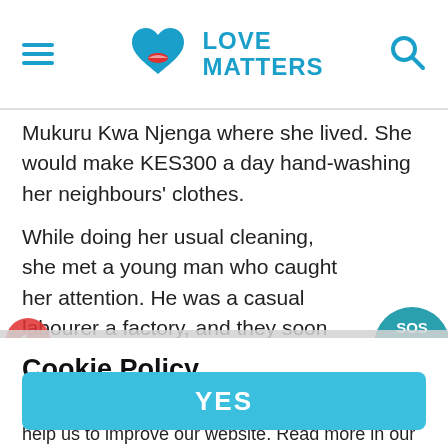LOVE MATTERS
Mukuru Kwa Njenga where she lived. She would make KES300 a day hand-washing her neighbours' clothes.
While doing her usual cleaning, she met a young man who caught her attention. He was a casual labourer a factory, and they soon began to date. Months lat in 2017, they moved in together. Anita was excited a build this new chapter of her life, since her dream
career was currently on hold.
But just eight months into dating, Anita discovered she was three months pregnant. She was ecstatic, put things soon took a turn for the worst. One Saturday evening her husband returned home in a drunken
stu
Cookie Policy
We want to use personalised analytical cookies to help us to improve our website. Read more in our cookie statement
YES
'is yelling at me, telling me I am wasting his time,' she recalls.